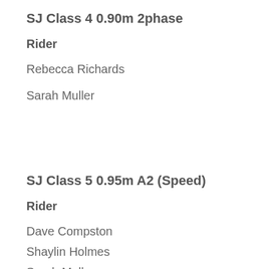SJ Class 4  0.90m  2phase
Rider
Rebecca Richards
Sarah Muller
SJ Class 5  0.95m  A2 (Speed)
Rider
Dave Compston
Shaylin Holmes
Sarah Muller